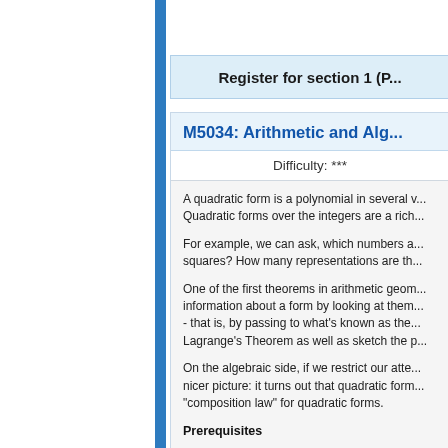Register for section 1 (P...
M5034: Arithmetic and Alg...
Difficulty: ***
A quadratic form is a polynomial in several v... Quadratic forms over the integers are a rich...
For example, we can ask, which numbers a... squares? How many representations are th...
One of the first theorems in arithmetic geom... information about a form by looking at them... - that is, by passing to what's known as the... Lagrange's Theorem as well as sketch the p...
On the algebraic side, if we restrict our atte... nicer picture: it turns out that quadratic form... "composition law" for quadratic forms.
Prerequisites